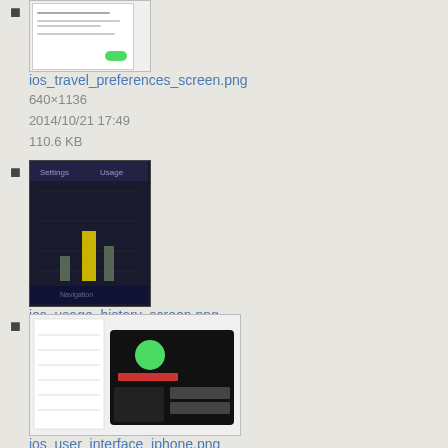ios_travel_preferences_screen.png
640×1136
2014/10/21 17:49
110.6 KB
ios_usage_history_screen.png
640×1136
2014/10/22 22:25
55.1 KB
ios_user_interface_iphone.png
667×425
2013/03/07 00:23
71.1 KB